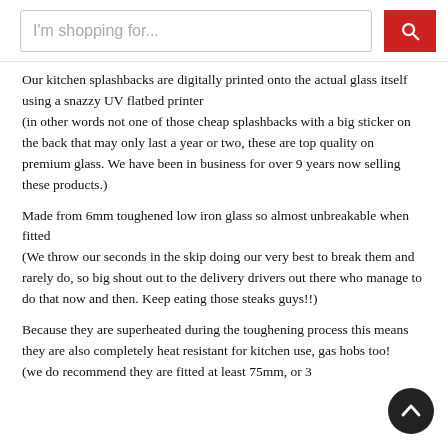I'm shopping for...
Our kitchen splashbacks are digitally printed onto the actual glass itself using a snazzy UV flatbed printer (in other words not one of those cheap splashbacks with a big sticker on the back that may only last a year or two, these are top quality on premium glass. We have been in business for over 9 years now selling these products.)
Made from 6mm toughened low iron glass so almost unbreakable when fitted (We throw our seconds in the skip doing our very best to break them and rarely do, so big shout out to the delivery drivers out there who manage to do that now and then. Keep eating those steaks guys!!)
Because they are superheated during the toughening process this means they are also completely heat resistant for kitchen use, gas hobs too! (we do recommend they are fitted at least 75mm, or 3